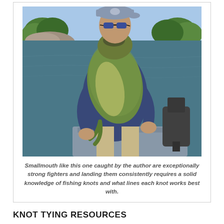[Figure (photo): A man wearing a baseball cap and sunglasses holding up a large smallmouth bass fish, standing on a fishing boat on a lake. Trees and rocky shoreline visible in the background. A boat motor is visible to the right.]
Smallmouth like this one caught by the author are exceptionally strong fighters and landing them consistently requires a solid knowledge of fishing knots and what lines each knot works best with.
KNOT TYING RESOURCES